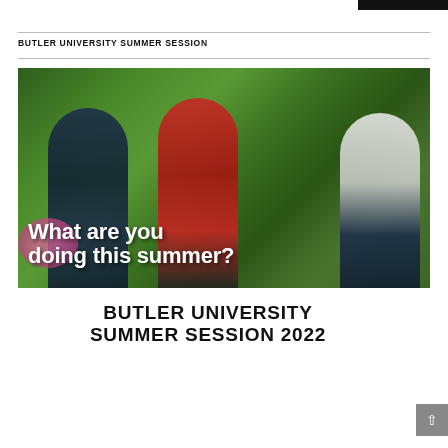BUTLER UNIVERSITY SUMMER SESSION
[Figure (photo): Three students walking outdoors on a sunny day with lush green foliage in background. Text overlay reads 'What are you doing this summer?']
BUTLER UNIVERSITY SUMMER SESSION 2022